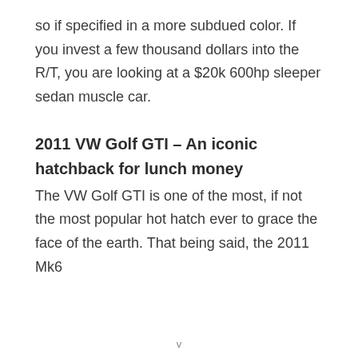so if specified in a more subdued color. If you invest a few thousand dollars into the R/T, you are looking at a $20k 600hp sleeper sedan muscle car.
2011 VW Golf GTI – An iconic hatchback for lunch money
The VW Golf GTI is one of the most, if not the most popular hot hatch ever to grace the face of the earth. That being said, the 2011 Mk6
v